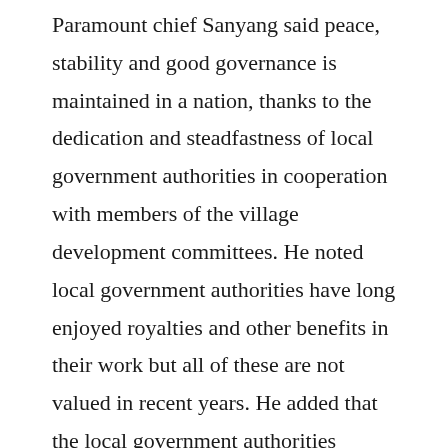Paramount chief Sanyang said peace, stability and good governance is maintained in a nation, thanks to the dedication and steadfastness of local government authorities in cooperation with members of the village development committees. He noted local government authorities have long enjoyed royalties and other benefits in their work but all of these are not valued in recent years. He added that the local government authorities should enjoy royalties from resources and public businesses in their localities. Mr.Yusupa Bojang, the Program Officer of NCCE, said the sensitization is part of their efforts in enlightening local authorities and village development committees on their various functions and responsibilities as enshrined in the Local Government Act of 2002. Mr. Bojang said they have carried out a nationwide sensitization program in all